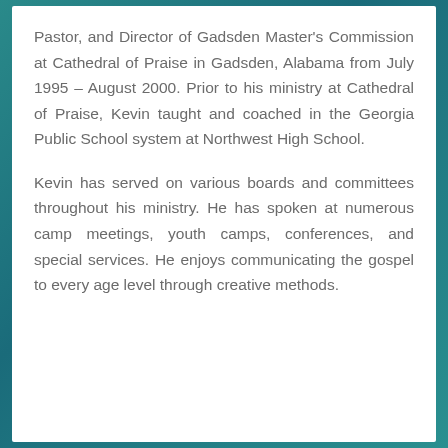Pastor, and Director of Gadsden Master's Commission at Cathedral of Praise in Gadsden, Alabama from July 1995 – August 2000. Prior to his ministry at Cathedral of Praise, Kevin taught and coached in the Georgia Public School system at Northwest High School.
Kevin has served on various boards and committees throughout his ministry. He has spoken at numerous camp meetings, youth camps, conferences, and special services. He enjoys communicating the gospel to every age level through creative methods.